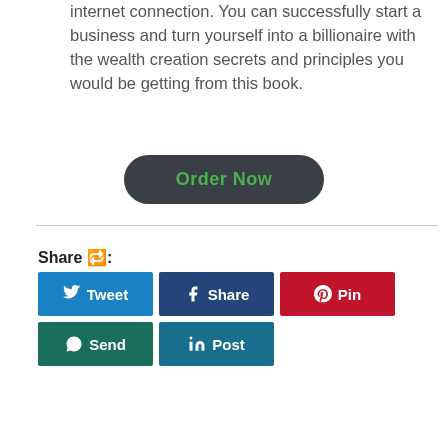internet connection. You can successfully start a business and turn yourself into a billionaire with the wealth creation secrets and principles you would be getting from this book.
[Figure (other): Dark rounded rectangle button with green text 'Order Now']
Share 🔁:
[Figure (infographic): Social share buttons: Tweet (blue), Share (dark blue), Pin (red), Send (dark green), Post (teal blue)]